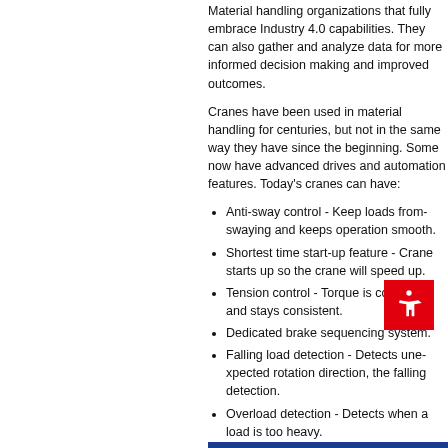Material handling organizations that fully embrace Industry 4.0 capabilities. They can also gather and analyze data for more informed decision making and improved outcomes.
Cranes have been used in material handling for centuries, but not in the same way they have since the beginning. Some now have advanced drives and automation features. Today's cranes can have:
Anti-sway control - Keep loads from swaying and keeps operation smooth.
Shortest time start-up feature - Crane will speed up the crane will speed up.
Tension control - Torque is controlled and stays consistent.
Dedicated brake sequencing system.
Falling load detection - Detects unexpected rotation direction, the falling detection.
Overload detection - Detects when a load is too heavy.
All of these features can certainly help improve operations for the organization.
One important benefit in using Industry 4.0 technology is that cranes are connected to back-office systems and AI analytics. These systems can alert you to potential issues before they occur.